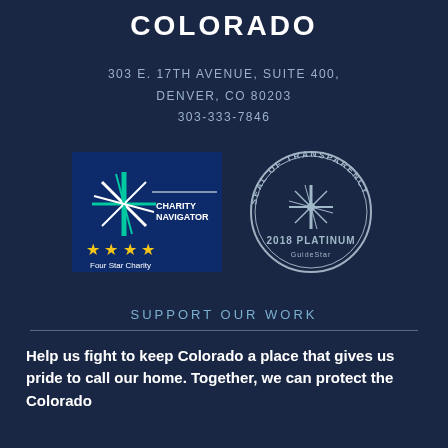COLORADO
303 E. 17TH AVENUE, SUITE 400,
DENVER, CO 80203
303-333-7846
[Figure (logo): Charity Navigator Four Star Charity logo with green/white star on dark blue background and yellow stars below]
[Figure (logo): GuideStar 2018 Platinum Seal of Transparency circular badge in silver/grey]
SUPPORT OUR WORK
Help us fight to keep Colorado a place that gives us pride to call our home. Together, we can protect the Colorado